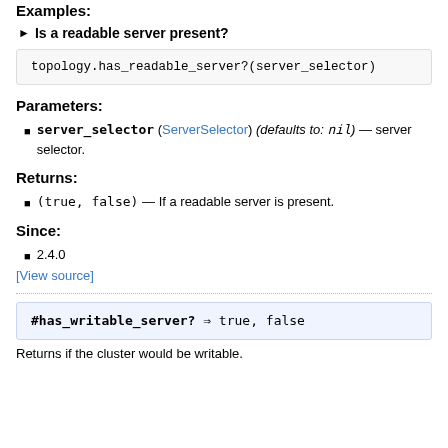Examples:
Is a readable server present?
topology.has_readable_server?(server_selector)
Parameters:
server_selector (ServerSelector) (defaults to: nil) — server selector.
Returns:
(true, false) — If a readable server is present.
Since:
2.4.0
[View source]
#has_writable_server? ⇒ true, false
Returns if the cluster would be writable.